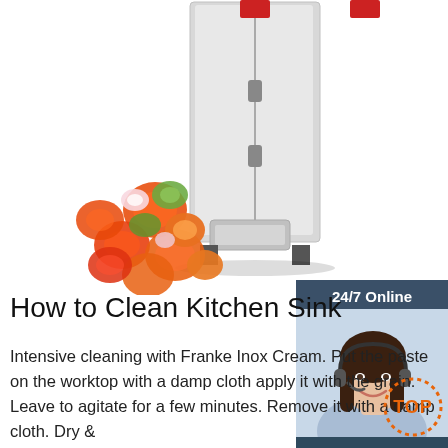[Figure (photo): Commercial food slicer/vegetable cutter machine in stainless steel with sliced vegetables (carrots, tomatoes, cucumbers, radishes) falling out of the chute]
[Figure (photo): 24/7 Online customer service widget with a photo of a smiling woman wearing a headset, 'Click here for free chat!' text, and an orange QUOTATION button]
How to Clean Kitchen Sink
Intensive cleaning with Franke Inox Cream. Put the paste on the worktop with a damp cloth apply it with the grain. Leave to agitate for a few minutes. Remove it with a damp cloth. Dry &